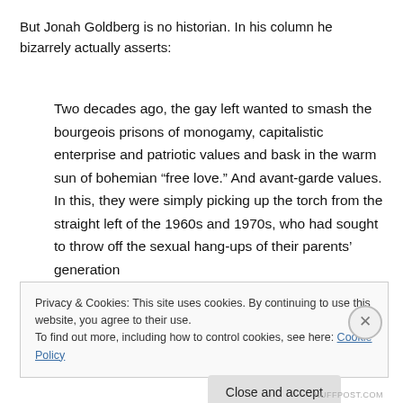But Jonah Goldberg is no historian. In his column he bizarrely actually asserts:
Two decades ago, the gay left wanted to smash the bourgeois prisons of monogamy, capitalistic enterprise and patriotic values and bask in the warm sun of bohemian “free love.” And avant-garde values. In this, they were simply picking up the torch from the straight left of the 1960s and 1970s, who had sought to throw off the sexual hang-ups of their parents’ generation
Privacy & Cookies: This site uses cookies. By continuing to use this website, you agree to their use.
To find out more, including how to control cookies, see here: Cookie Policy